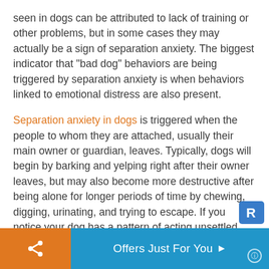seen in dogs can be attributed to lack of training or other problems, but in some cases they may actually be a sign of separation anxiety. The biggest indicator that “bad dog” behaviors are being triggered by separation anxiety is when behaviors linked to emotional distress are also present.
Separation anxiety in dogs is triggered when the people to whom they are attached, usually their main owner or guardian, leaves. Typically, dogs will begin by barking and yelping right after their owner leaves, but may also become more destructive after being alone for longer periods of time by chewing, digging, urinating, and trying to escape. If you notice your dog has a pattern of acting unsettled, anxious, or depressed before you leave, this is definitely a si...
Offers Just For You